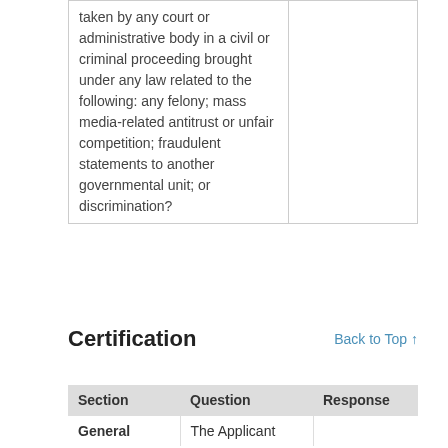|  |  |  |
| --- | --- | --- |
| taken by any court or administrative body in a civil or criminal proceeding brought under any law related to the following: any felony; mass media-related antitrust or unfair competition; fraudulent statements to another governmental unit; or discrimination? |  |
Certification
Back to Top ↑
| Section | Question | Response |
| --- | --- | --- |
| General | The Applicant |  |